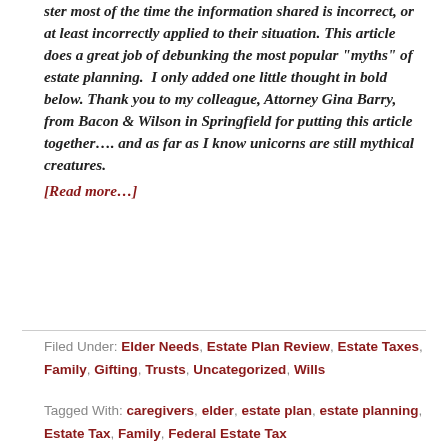ster most of the time the information shared is incorrect, or at least incorrectly applied to their situation. This article does a great job of debunking the most popular “myths” of estate planning. I only added one little thought in bold below. Thank you to my colleague, Attorney Gina Barry, from Bacon & Wilson in Springfield for putting this article together…. and as far as I know unicorns are still mythical creatures. [Read more…]
Filed Under: Elder Needs, Estate Plan Review, Estate Taxes, Family, Gifting, Trusts, Uncategorized, Wills
Tagged With: caregivers, elder, estate plan, estate planning, Estate Tax, Family, Federal Estate Tax